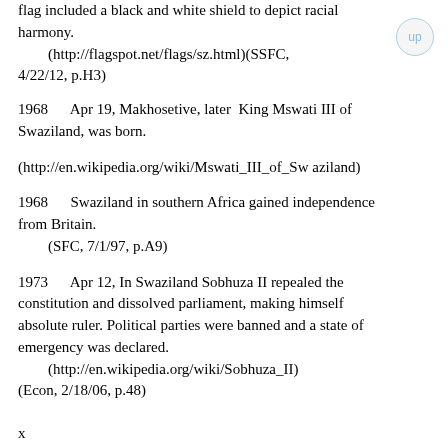flag included a black and white shield to depict racial harmony.
    (http://flagspot.net/flags/sz.html)(SSFC, 4/22/12, p.H3)
1968      Apr 19, Makhosetive, later  King Mswati III of Swaziland, was born.
(http://en.wikipedia.org/wiki/Mswati_III_of_Swaziland)
1968      Swaziland in southern Africa gained independence from Britain.
    (SFC, 7/1/97, p.A9)
1973      Apr 12, In Swaziland Sobhuza II repealed the constitution and dissolved parliament, making himself absolute ruler. Political parties were banned and a state of emergency was declared.
    (http://en.wikipedia.org/wiki/Sobhuza_II)
(Econ, 2/18/06, p.48)